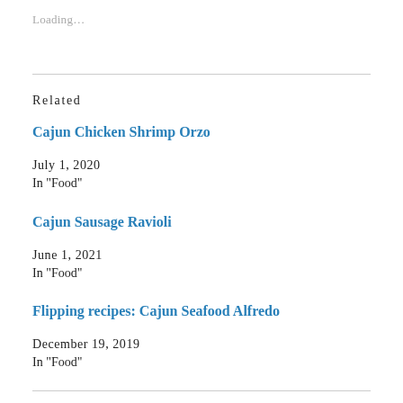Loading…
Related
Cajun Chicken Shrimp Orzo
July 1, 2020
In "Food"
Cajun Sausage Ravioli
June 1, 2021
In "Food"
Flipping recipes: Cajun Seafood Alfredo
December 19, 2019
In "Food"